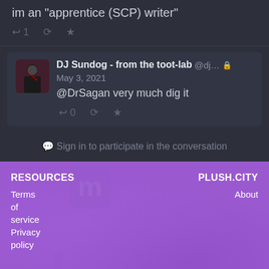im an "apprentice (SCP) writer"
↩ 1  🔁  ★
DJ Sundog - from the toot-lab @dj… 🔒 May 3, 2021
@DrSagan very much dig it
↩ 0  🔁  ★
💬 Sign in to participate in the conversation
RESOURCES
Terms of service
Privacy policy
PLUSH.CITY
About